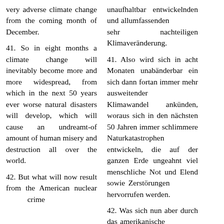very adverse climate change from the coming month of December.
41. So in eight months a climate change will inevitably become more and more widespread, from which in the next 50 years ever worse natural disasters will develop, which will cause an undreamt-of amount of human misery and destruction all over the world.
42. But what will now result from the American nuclear crime
unaufhaltbar entwickelnden und allumfassenden sehr nachteiligen Klimaveränderung.
41. Also wird sich in acht Monaten unabänderbar ein sich dann fortan immer mehr ausweitender Klimawandel ankünden, woraus sich in den nächsten 50 Jahren immer schlimmere Naturkatastrophen entwickeln, die auf der ganzen Erde ungeahnt viel menschliche Not und Elend sowie Zerstörungen hervorrufen werden.
42. Was sich nun aber durch das amerikanische atomare Verbrechen umfänglich am